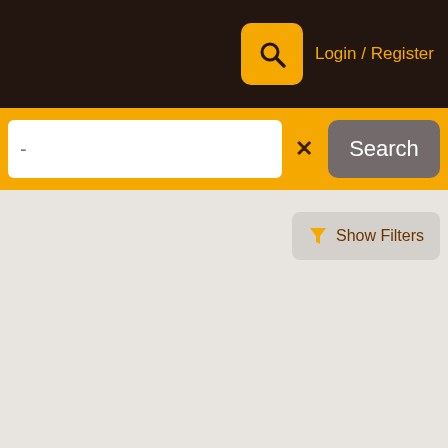[Figure (screenshot): Dark brown top navigation bar with an orange search icon button and 'Login / Register' text in orange]
Login / Register
[Figure (screenshot): Orange search bar containing a white text input field with a dash placeholder, an orange X clear button, and a dark gray 'Search' button]
Search
[Figure (screenshot): Light gray main content area with a 'Show Filters' button in the upper right with an orange funnel icon]
Show Filters